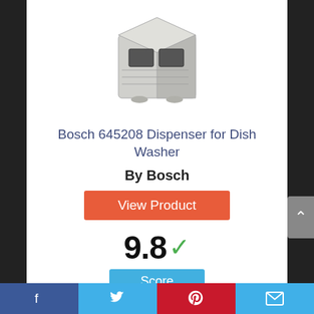[Figure (photo): Product photo of Bosch 645208 Dispenser for Dish Washer - a small grey dispenser unit]
Bosch 645208 Dispenser for Dish Washer
By Bosch
View Product
9.8 ✓
Score
Facebook  Twitter  Pinterest  Mail